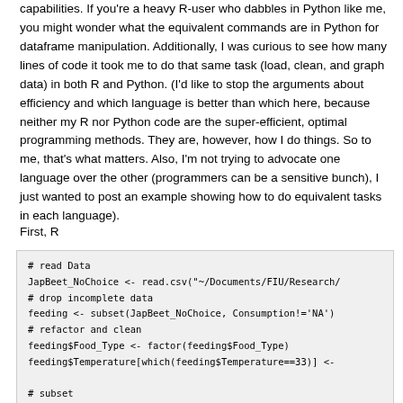capabilities. If you're a heavy R-user who dabbles in Python like me, you might wonder what the equivalent commands are in Python for dataframe manipulation. Additionally, I was curious to see how many lines of code it took me to do that same task (load, clean, and graph data) in both R and Python. (I'd like to stop the arguments about efficiency and which language is better than which here, because neither my R nor Python code are the super-efficient, optimal programming methods. They are, however, how I do things. So to me, that's what matters. Also, I'm not trying to advocate one language over the other (programmers can be a sensitive bunch), I just wanted to post an example showing how to do equivalent tasks in each language).
First, R
# read Data
JapBeet_NoChoice <- read.csv("~/Documents/FIU/Research/
# drop incomplete data
feeding <- subset(JapBeet_NoChoice, Consumption!='NA')
# refactor and clean
feeding$Food_Type <- factor(feeding$Food_Type)
feeding$Temperature[which(feeding$Temperature==33)] <-

# subset
plants <- c('Platanus occidentalis', 'Rubus alleghenier